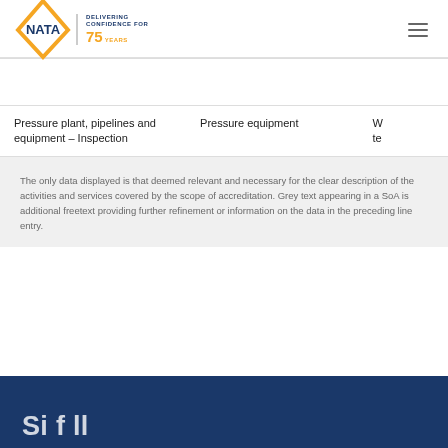NATA - Delivering Confidence for 75 Years
| Activity | Equipment/Type | W te |
| --- | --- | --- |
| Pressure plant, pipelines and equipment – Inspection | Pressure equipment | W te |
The only data displayed is that deemed relevant and necessary for the clear description of the activities and services covered by the scope of accreditation. Grey text appearing in a SoA is additional freetext providing further refinement or information on the data in the preceding line entry.
[Figure (photo): Blue banner section at the bottom with partial white text visible]